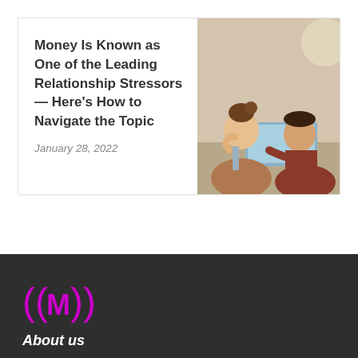Money Is Known as One of the Leading Relationship Stressors — Here's How to Navigate the Topic
January 28, 2022
[Figure (photo): Two people (a woman and a man) looking at a laptop together, appearing stressed or focused. The woman has her hand on her chin.]
[Figure (logo): ((M)) logo in magenta/pink color on dark background]
About us
DMCA Removal